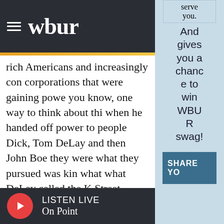wbur
rich Americans and increasingly corporations that were gaining power, you know, one way to think about this when he handed off power to people Dick, Tom DeLay and then John Boe, they were what they pursued was kind what what DeLay called the K Street Right. Was a kind of the loyal Cordra, lobbyists. Right. That would support Republican Party. And that, in turn, write the rules. And that was a sea ch
serve you. And gives you a chance to win WBUR swag!
[Figure (other): SHARE YO button (partial)]
LISTEN LIVE On Point